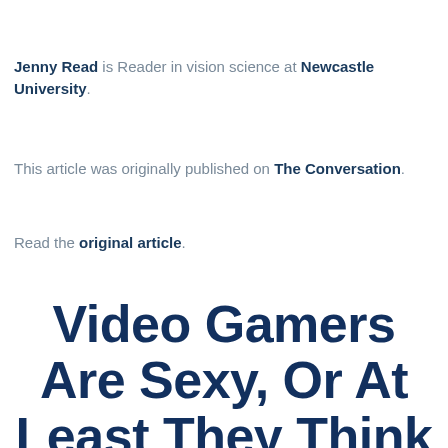Jenny Read is Reader in vision science at Newcastle University.
This article was originally published on The Conversation. Read the original article.
Video Gamers Are Sexy, Or At Least They Think They Are